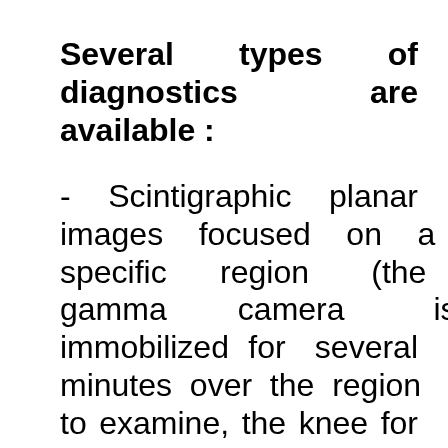Several types of diagnostics are available :
- Scintigraphic planar images focused on a specific region (the gamma camera is immobilized for several minutes over the region to examine, the knee for example);